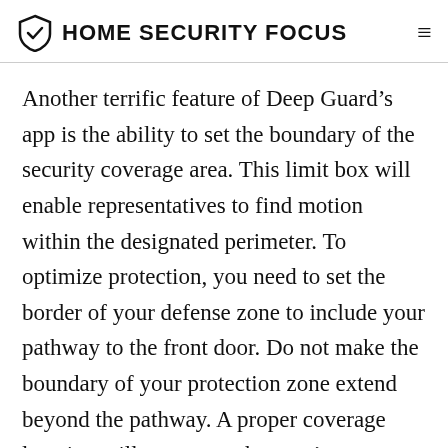HOME SECURITY FOCUS
Another terrific feature of Deep Guard’s app is the ability to set the boundary of the security coverage area. This limit box will enable representatives to find motion within the designated perimeter. To optimize protection, you need to set the border of your defense zone to include your pathway to the front door. Do not make the boundary of your protection zone extend beyond the pathway. A proper coverage location will guarantee that you’re not caught